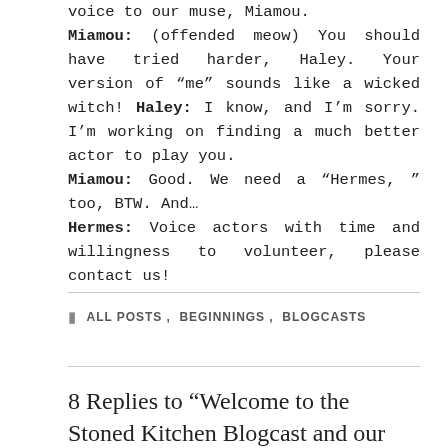voice to our muse, Miamou. Miamou: (offended meow) You should have tried harder, Haley. Your version of “me” sounds like a wicked witch! Haley: I know, and I’m sorry. I’m working on finding a much better actor to play you. Miamou: Good. We need a “Hermes, ” too, BTW. And... Hermes: Voice actors with time and willingness to volunteer, please contact us!
ALL POSTS, BEGINNINGS, BLOGCASTS
8 Replies to “Welcome to the Stoned Kitchen Blogcast and our